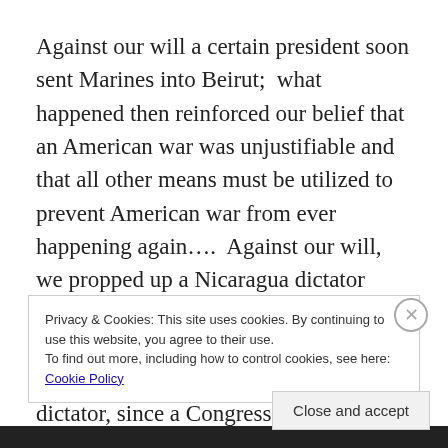Against our will a certain president soon sent Marines into Beirut;  what happened then reinforced our belief that an American war was unjustifiable and that all other means must be utilized to prevent American war from ever happening again….  Against our will, we propped up a Nicaragua dictator against some rebels.  Against our will, we sold arms to Iran to use for paying for our support for that Nicaragua dictator, since a Congress elected by the
Privacy & Cookies: This site uses cookies. By continuing to use this website, you agree to their use.
To find out more, including how to control cookies, see here: Cookie Policy
Close and accept